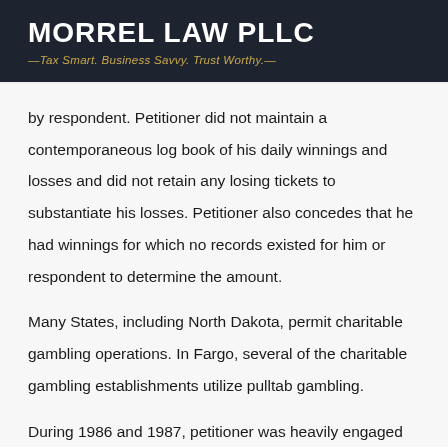MORREL LAW PLLC — Tax Smart. Business Savvy. Trust Worthy. —
by respondent. Petitioner did not maintain a contemporaneous log book of his daily winnings and losses and did not retain any losing tickets to substantiate his losses. Petitioner also concedes that he had winnings for which no records existed for him or respondent to determine the amount.
Many States, including North Dakota, permit charitable gambling operations. In Fargo, several of the charitable gambling establishments utilize pulltab gambling.
During 1986 and 1987, petitioner was heavily engaged